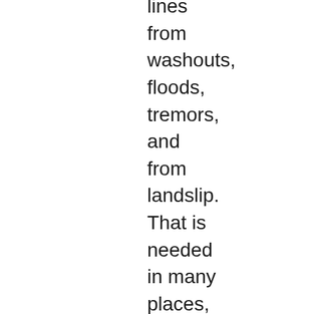lines from washouts, floods, tremors, and from landslip. That is needed in many places, because much of the predicted chaos and catastrophe is, unfortunately, already